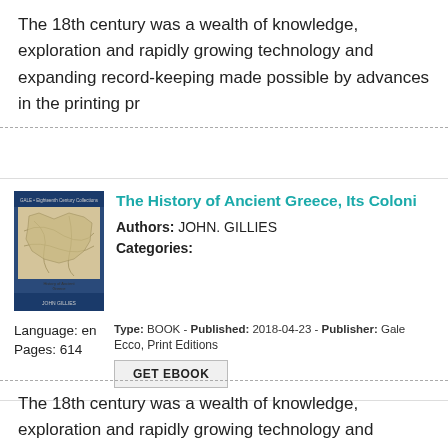The 18th century was a wealth of knowledge, exploration and rapidly growing technology and expanding record-keeping made possible by advances in the printing pr
[Figure (illustration): Book cover of 'The History of Ancient Greece, Its Colonies and Conquests' showing a map illustration with a blue border]
The History of Ancient Greece, Its Coloni
Authors: JOHN. GILLIES
Categories:
Language: en
Pages: 614
Type: BOOK - Published: 2018-04-23 - Publisher: Gale Ecco, Print Editions
GET EBOOK
The 18th century was a wealth of knowledge, exploration and rapidly growing technology and expanding record-keeping made possible by advances